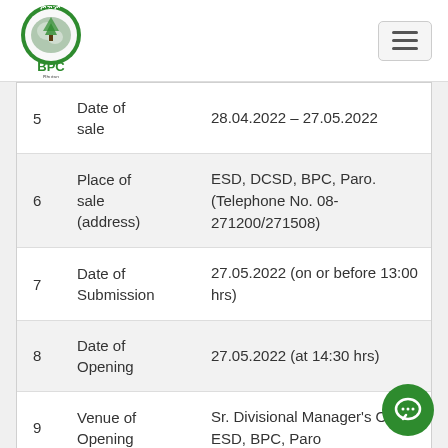[Figure (logo): BPC (Bhutan Power Corporation) circular green logo with tree and map imagery, with 'BPC' text below in green]
| No. | Field | Details |
| --- | --- | --- |
| 5 | Date of sale | 28.04.2022 – 27.05.2022 |
| 6 | Place of sale (address) | ESD, DCSD, BPC, Paro. (Telephone No. 08-271200/271508) |
| 7 | Date of Submission | 27.05.2022 (on or before 13:00 hrs) |
| 8 | Date of Opening | 27.05.2022 (at 14:30 hrs) |
| 9 | Venue of Opening | Sr. Divisional Manager's Office ESD, BPC, Paro |